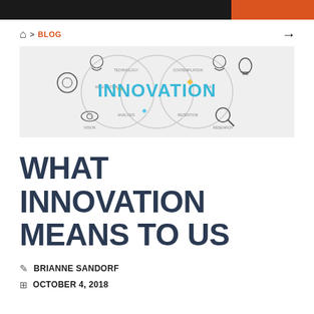BLOG
[Figure (illustration): Innovation concept illustration with interconnected circles, gears, lightbulbs, and the word INNOVATION in blue text in the center, surrounded by words like Technology, Contemplation, Imagination, Idea, Analysis, Vision, Research]
WHAT INNOVATION MEANS TO US
BRIANNE SANDORF
OCTOBER 4, 2018